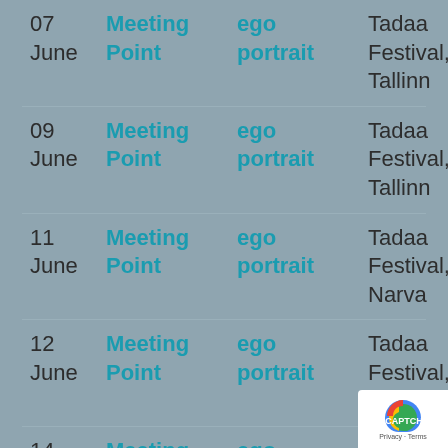| Date | Event | Work | Location |
| --- | --- | --- | --- |
| 07 June | Meeting Point | ego portrait | Tadaa Festival, Tallinn |
| 09 June | Meeting Point | ego portrait | Tadaa Festival, Tallinn |
| 11 June | Meeting Point | ego portrait | Tadaa Festival, Narva |
| 12 June | Meeting Point | ego portrait | Tadaa Festival, Narva |
| 14 June | Meeting Point | ego portrait | Tadaa Festival, ... |